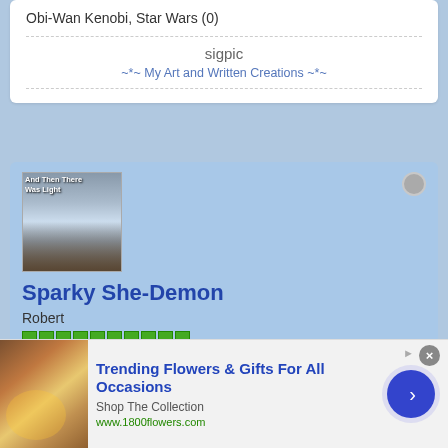Obi-Wan Kenobi, Star Wars (0)
sigpic
~*~ My Art and Written Creations ~*~
[Figure (photo): User avatar image for Sparky She-Demon showing movie poster style image with text 'And Then There Was Light']
Sparky She-Demon
Robert
Member Since: Mar 2012   Posts: 26189
[Figure (photo): Advertisement banner for 1800flowers.com: Trending Flowers & Gifts For All Occasions, Shop The Collection, www.1800flowers.com]